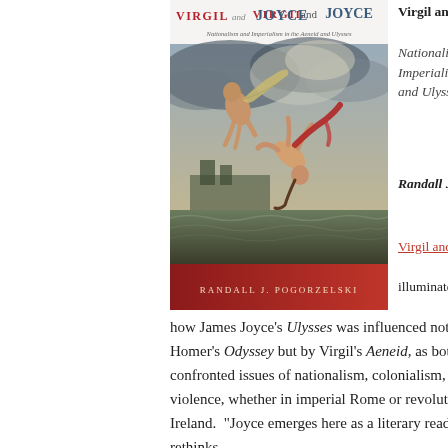[Figure (illustration): Book cover of 'Virgil and Joyce: Nationalism and Imperialism in the Aeneid and Ulysses' by Randall J. Pogorzelski, featuring a classical painting of falling figures (likely Icarus) over turbulent waters, with a red band at the bottom bearing the author's name.]
Virgil and Joyce
Nationalism and Imperialism in the Aeneid and Ulysses
Randall J. Pogorzelski
Virgil and Joyce illuminates how James Joyce's Ulysses was influenced not just by Homer's Odyssey but by Virgil's Aeneid, as both authors confronted issues of nationalism, colonialism, and political violence, whether in imperial Rome or revolutionary Ireland.  “Joyce emerges here as a literary reader who rethinks